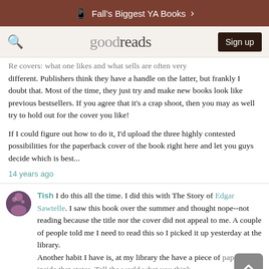Fall's Biggest YA Books >
[Figure (logo): Goodreads logo with search icon and Sign up button]
Re covers: what one likes and what sells are often very different. Publishers think they have a handle on the latter, but frankly I doubt that. Most of the time, they just try and make new books look like previous bestsellers. If you agree that it's a crap shoot, then you may as well try to hold out for the cover you like!

If I could figure out how to do it, I'd upload the three highly contested possibilities for the paperback cover of the book right here and let you guys decide which is best...
14 years ago
Tish I do this all the time. I did this with The Story of Edgar Sawtelle. I saw this book over the summer and thought nope--not reading because the title nor the cover did not appeal to me. A couple of people told me I need to read this so I picked it up yesterday at the library.
Another habit I have is, at my library the have a piece of paper on the inside that states, Tell the world what you think